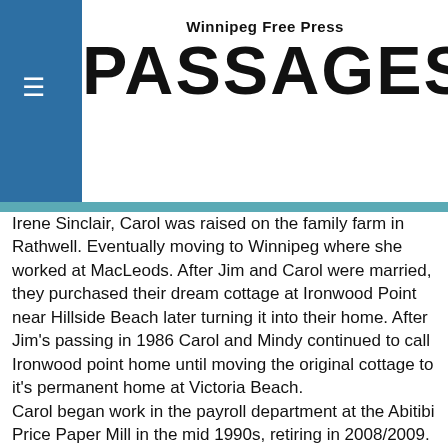Winnipeg Free Press PASSAGES
Irene Sinclair, Carol was raised on the family farm in Rathwell. Eventually moving to Winnipeg where she worked at MacLeods. After Jim and Carol were married, they purchased their dream cottage at Ironwood Point near Hillside Beach later turning it into their home. After Jim's passing in 1986 Carol and Mindy continued to call Ironwood point home until moving the original cottage to it's permanent home at Victoria Beach. Carol began work in the payroll department at the Abitibi Price Paper Mill in the mid 1990s, retiring in 2008/2009. Carol made many friends in the Pine Falls area over the years and enjoyed working at the mill during its glory days. After retiring Carol filled her days with reading, gardening and volunteering, notably with the East Beaches Animal Services (EBAS). Carol was a founding member of EBAS, which was established not long after Sandra Ateah ran out of room for cats in her own house. Sandra used the old "it will only be for a night or two" swindle and dropped off 2 kittens.... In the end that "night or two" at Carol's house